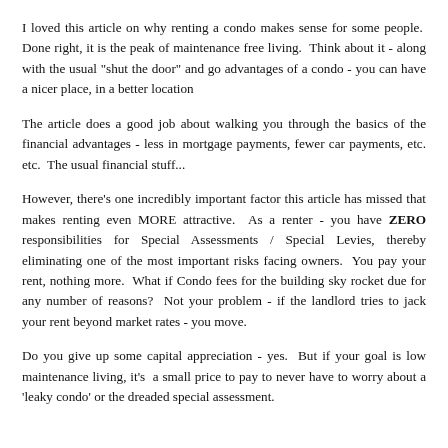I loved this article on why renting a condo makes sense for some people. Done right, it is the peak of maintenance free living. Think about it - along with the usual "shut the door" and go advantages of a condo - you can have a nicer place, in a better location
The article does a good job about walking you through the basics of the financial advantages - less in mortgage payments, fewer car payments, etc. etc. The usual financial stuff...
However, there's one incredibly important factor this article has missed that makes renting even MORE attractive. As a renter - you have ZERO responsibilities for Special Assessments / Special Levies, thereby eliminating one of the most important risks facing owners. You pay your rent, nothing more. What if Condo fees for the building sky rocket due for any number of reasons? Not your problem - if the landlord tries to jack your rent beyond market rates - you move.
Do you give up some capital appreciation - yes. But if your goal is low maintenance living, it's a small price to pay to never have to worry about a 'leaky condo' or the dreaded special assessment.